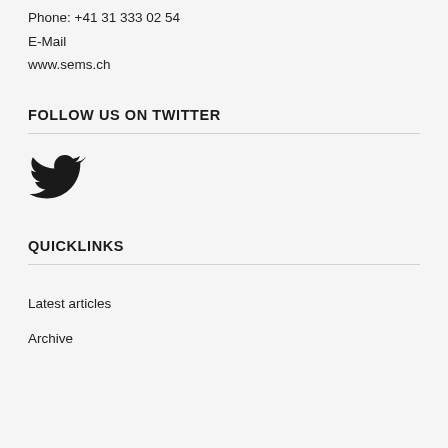Phone: +41 31 333 02 54
E-Mail
www.sems.ch
FOLLOW US ON TWITTER
[Figure (logo): Twitter bird icon in black]
QUICKLINKS
Latest articles
Archive